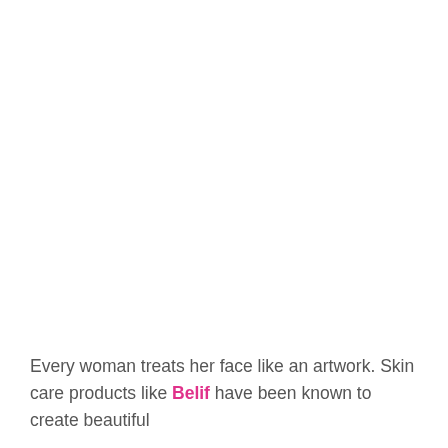Every woman treats her face like an artwork. Skin care products like Belif have been known to create beautiful